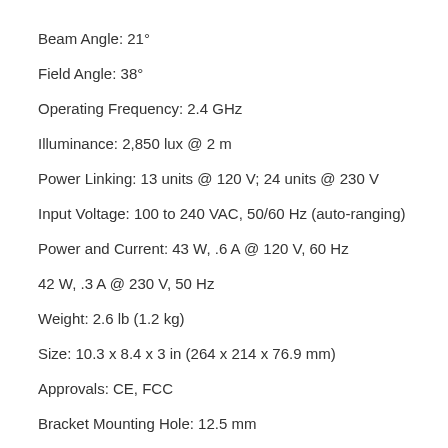Beam Angle: 21°
Field Angle: 38°
Operating Frequency: 2.4 GHz
Illuminance: 2,850 lux @ 2 m
Power Linking: 13 units @ 120 V; 24 units @ 230 V
Input Voltage: 100 to 240 VAC, 50/60 Hz (auto-ranging)
Power and Current: 43 W, .6 A @ 120 V, 60 Hz
42 W, .3 A @ 230 V, 50 Hz
Weight: 2.6 lb (1.2 kg)
Size: 10.3 x 8.4 x 3 in (264 x 214 x 76.9 mm)
Approvals: CE, FCC
Bracket Mounting Hole: 12.5 mm